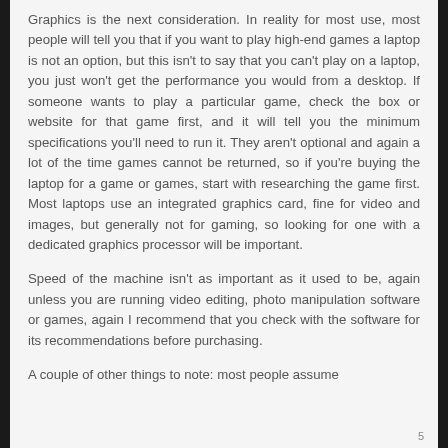Graphics is the next consideration. In reality for most use, most people will tell you that if you want to play high-end games a laptop is not an option, but this isn't to say that you can't play on a laptop, you just won't get the performance you would from a desktop. If someone wants to play a particular game, check the box or website for that game first, and it will tell you the minimum specifications you'll need to run it. They aren't optional and again a lot of the time games cannot be returned, so if you're buying the laptop for a game or games, start with researching the game first. Most laptops use an integrated graphics card, fine for video and images, but generally not for gaming, so looking for one with a dedicated graphics processor will be important.
Speed of the machine isn't as important as it used to be, again unless you are running video editing, photo manipulation software or games, again I recommend that you check with the software for its recommendations before purchasing.
A couple of other things to note: most people assume
5